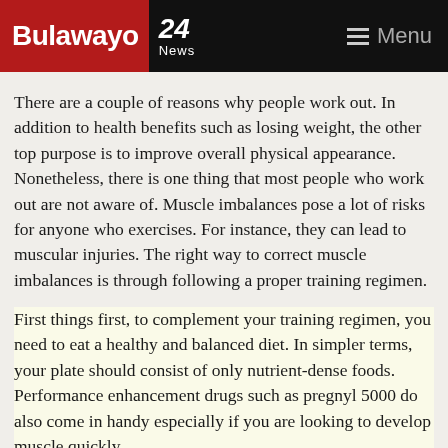Bulawayo 24 News — Menu
There are a couple of reasons why people work out. In addition to health benefits such as losing weight, the other top purpose is to improve overall physical appearance. Nonetheless, there is one thing that most people who work out are not aware of. Muscle imbalances pose a lot of risks for anyone who exercises. For instance, they can lead to muscular injuries. The right way to correct muscle imbalances is through following a proper training regimen.
First things first, to complement your training regimen, you need to eat a healthy and balanced diet. In simpler terms, your plate should consist of only nutrient-dense foods. Performance enhancement drugs such as pregnyl 5000 do also come in handy especially if you are looking to develop muscle quickly.